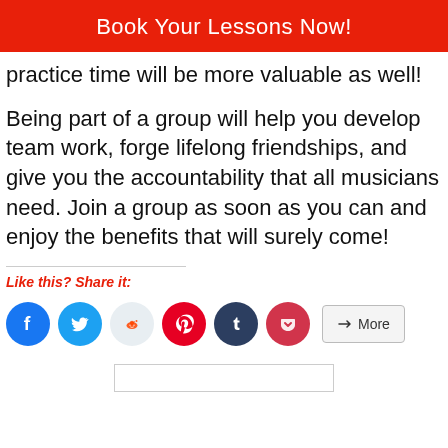Book Your Lessons Now!
practice time will be more valuable as well!
Being part of a group will help you develop team work, forge lifelong friendships, and give you the accountability that all musicians need. Join a group as soon as you can and enjoy the benefits that will surely come!
Like this? Share it:
[Figure (infographic): Social media share buttons: Facebook, Twitter, Reddit, Pinterest, Tumblr, Pocket, and a More button]